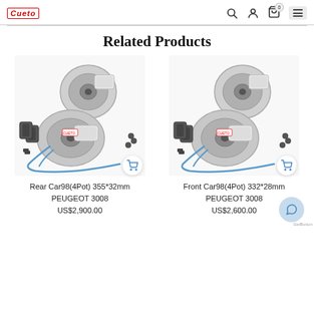Cueto [logo] | Search | Account | Cart (0) | Menu
Related Products
[Figure (photo): Brake caliper kit product image for Rear Car98(4Pot) 355*32mm PEUGEOT 3008, with blue brake lines and white caliper, with shopping cart icon overlay]
Rear Car98(4Pot) 355*32mm
PEUGEOT 3008
US$2,900.00
[Figure (photo): Brake caliper kit product image for Front Car98(4Pot) 332*28mm PEUGEOT 3008, with blue brake lines and white caliper, with shopping cart icon overlay]
Front Car98(4Pot) 332*28mm
PEUGEOT 3008
US$2,600.00